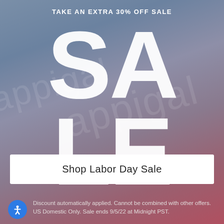TAKE AN EXTRA 30% OFF SALE
[Figure (infographic): Large bold white text reading SALE on a blue-grey to red gradient background with faint watermark text, promoting a Labor Day sale]
Shop Labor Day Sale
Discount automatically applied. Cannot be combined with other offers. US Domestic Only. Sale ends 9/5/22 at Midnight PST.